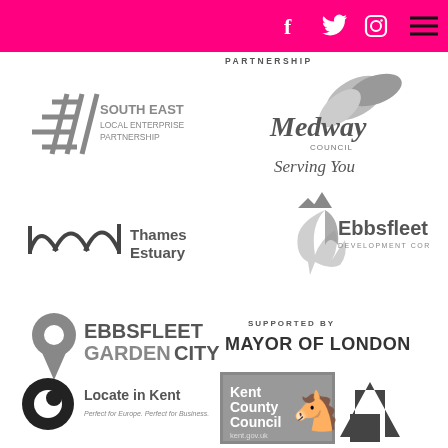PARTNERSHIP
[Figure (logo): South East Local Enterprise Partnership logo - grey geometric hash marks with text SOUTH EAST LOCAL ENTERPRISE PARTNERSHIP]
[Figure (logo): Medway Council - Serving You logo in grey italic script with feather/leaf graphic]
[Figure (logo): Thames Estuary logo - three arch waves symbol with text Thames Estuary]
[Figure (logo): Ebbsfleet Development Corporation logo - feather with mountain peaks graphic]
[Figure (logo): Ebbsfleet Garden City logo - location pin with bold text EBBSFLEET GARDEN CITY]
[Figure (logo): Supported by Mayor of London text logo]
[Figure (logo): Locate in Kent logo - circular eye/globe symbol with text Locate in Kent, Perfect for Europe. Perfect for Business.]
[Figure (logo): Kent County Council logo in grey box with horse symbol and kent.gov.uk, with large upward arrow]